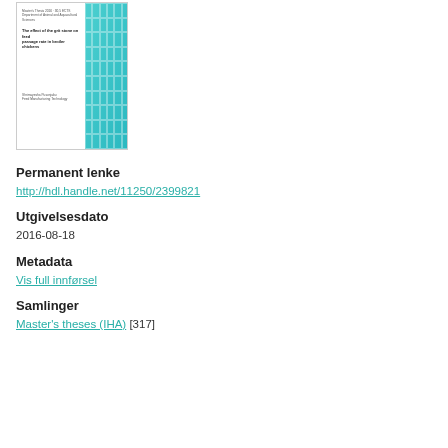[Figure (illustration): Thumbnail of a master's thesis cover page. Left portion shows small text with thesis metadata and title 'The effect of the grit stone on feed passage rate in broiler chickens'. Right portion is a teal/cyan grid pattern background.]
Permanent lenke
http://hdl.handle.net/11250/2399821
Utgivelsesdato
2016-08-18
Metadata
Vis full innførsel
Samlinger
Master's theses (IHA) [317]